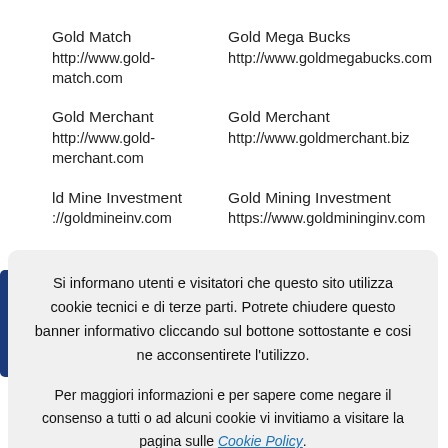Gold Match
http://www.gold-match.com
Gold Mega Bucks
http://www.goldmegabucks.com
Gold Merchant
http://www.gold-merchant.com
Gold Merchant
http://www.goldmerchant.biz
Gold Mine Investment
http://goldmineinv.com
Gold Mining Investment
https://www.goldmininginv.com
Gold Money Pay
Gold November
Si informano utenti e visitatori che questo sito utilizza cookie tecnici e di terze parti. Potrete chiudere questo banner informativo cliccando sul bottone sottostante e cosi ne acconsentirete l'utilizzo.

Per maggiori informazioni e per sapere come negare il consenso a tutti o ad alcuni cookie vi invitiamo a visitare la pagina sulle Cookie Policy.